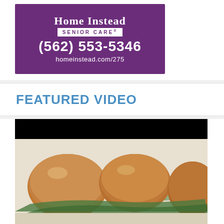[Figure (logo): Home Instead Senior Care advertisement with purple background showing brand logo, phone number (562) 553-5346, and website homeinstead.com/275]
FEATURED VIDEO
[Figure (photo): Video thumbnail showing mini sliders/burgers with greens on a white plate, black letterbox bar at top]